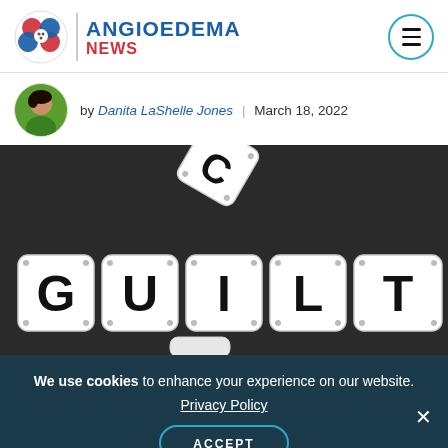ANGIOEDEMA NEWS
by Danita LaShelle Jones | March 18, 2022
[Figure (photo): Dice arranged to spell GUILT on a dark background, with one die tumbling showing the letter C]
We use cookies to enhance your experience on our website. Privacy Policy ACCEPT